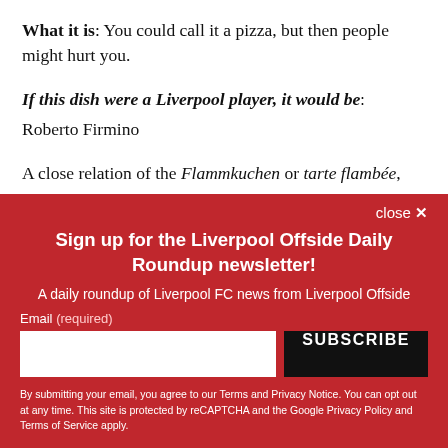What it is: You could call it a pizza, but then people might hurt you.
If this dish were a Liverpool player, it would be: Roberto Firmino
A close relation of the Flammkuchen or tarte flambée,
close ✕
Sign up for the Liverpool Offside Daily Roundup newsletter!
A daily roundup of Liverpool FC news from Liverpool Offside
Email (required)
SUBSCRIBE
By submitting your email, you agree to our Terms and Privacy Notice. You can opt out at any time. This site is protected by reCAPTCHA and the Google Privacy Policy and Terms of Service apply.